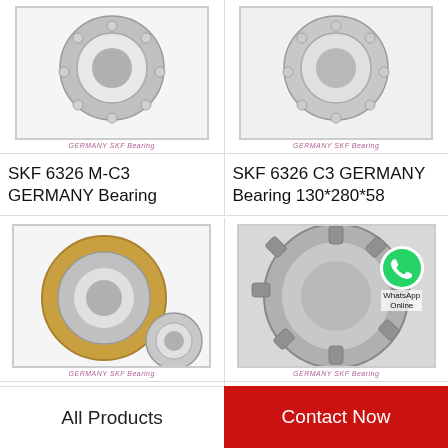[Figure (photo): SKF 6326 M-C3 GERMANY bearing product image with 'GERMANY SKF Bearing' watermark]
SKF 6326 M-C3 GERMANY Bearing
[Figure (photo): SKF 6326 C3 GERMANY bearing product image with 'GERMANY SKF Bearing' watermark]
SKF 6326 C3 GERMANY Bearing 130*280*58
[Figure (photo): SKF 6326 C3 GERMANY bearing product image showing angular contact ball bearings with 'GERMANY SKF Bearing' watermark]
SKF 6326 C3 GERMANY Bearing
[Figure (photo): SKF 6326 SKF GERMANY bearing product image with WhatsApp Online overlay and 'GERMANY SKF Bearing' watermark]
SKF 6326 SKF GERMANY Bearing…
All Products
Contact Now